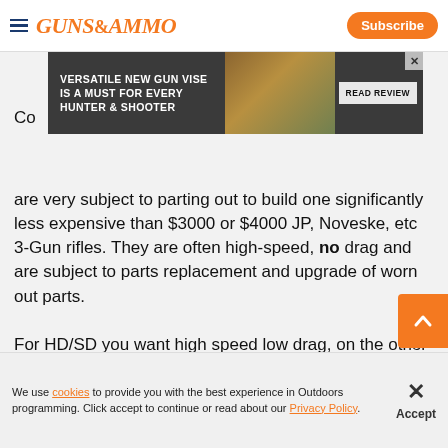GUNS&AMMO | Subscribe
[Figure (screenshot): Advertisement banner: 'VERSATILE NEW GUN VISE IS A MUST FOR EVERY HUNTER & SHOOTER' with READ REVIEW button and image of gun vise]
Co... are very subject to parting out to build one significantly less expensive than $3000 or $4000 JP, Noveske, etc 3-Gun rifles. They are often high-speed, no drag and are subject to parts replacement and upgrade of worn out parts.

For HD/SD you want high speed low drag, on the other hand. It doesn't need to have light weight BCAs...
We use cookies to provide you with the best experience in Outdoors programming. Click accept to continue or read about our Privacy Policy.